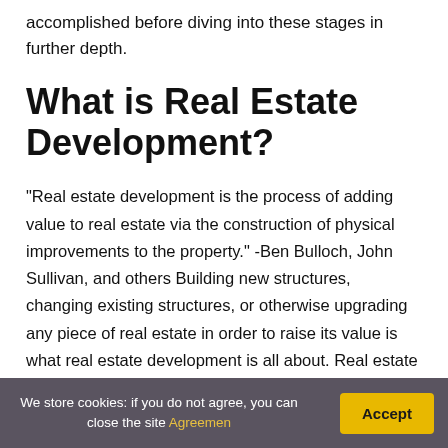accomplished before diving into these stages in further depth.
What is Real Estate Development?
“Real estate development is the process of adding value to real estate via the construction of physical improvements to the property.” -Ben Bulloch, John Sullivan, and others Building new structures, changing existing structures, or otherwise upgrading any piece of real estate in order to raise its value is what real estate development is all about. Real estate
We store cookies: if you do not agree, you can close the site Agreemen Accept